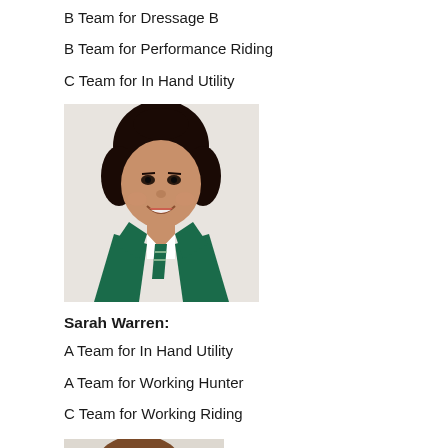B Team for Dressage B
B Team for Performance Riding
C Team for In Hand Utility
[Figure (photo): School portrait photo of a young girl with dark hair, wearing a green blazer and green tie with white shirt, smiling]
Sarah Warren:
A Team for In Hand Utility
A Team for Working Hunter
C Team for Working Riding
[Figure (photo): School portrait photo of a student with brown hair, partially visible at bottom of page]